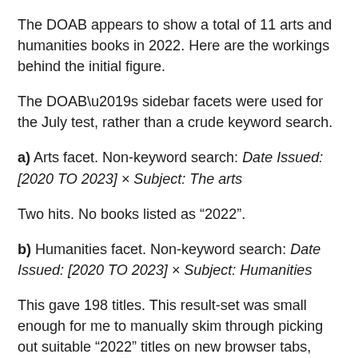The DOAB appears to show a total of 11 arts and humanities books in 2022. Here are the workings behind the initial figure.
The DOAB's sidebar facets were used for the July test, rather than a crude keyword search.
a) Arts facet. Non-keyword search: Date Issued: [2020 TO 2023] × Subject: The arts
Two hits. No books listed as “2022”.
b) Humanities facet. Non-keyword search: Date Issued: [2020 TO 2023] × Subject: Humanities
This gave 198 titles. This result-set was small enough for me to manually skim through picking out suitable “2022” titles on new browser tabs, while excluding single chapters